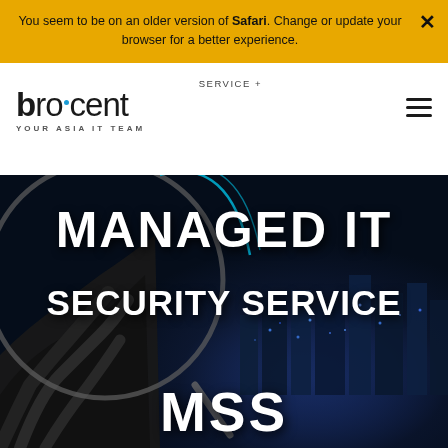You seem to be on an older version of Safari. Change or update your browser for a better experience.
[Figure (logo): Brocent logo with tagline YOUR ASIA IT TEAM and SERVICE + navigation link]
[Figure (photo): Dark hero image showing magnifying glass over city at night with large white text overlaid reading MANAGED IT SECURITY SERVICE MSS]
MANAGED IT SECURITY SERVICE MSS